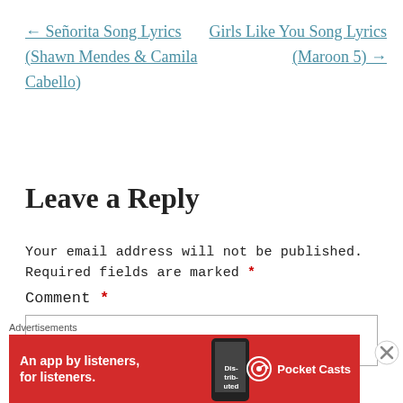← Señorita Song Lyrics (Shawn Mendes & Camila Cabello)
Girls Like You Song Lyrics (Maroon 5) →
Leave a Reply
Your email address will not be published. Required fields are marked *
Comment *
[Figure (infographic): Pocket Casts advertisement banner: red background with text 'An app by listeners, for listeners.' and Pocket Casts logo]